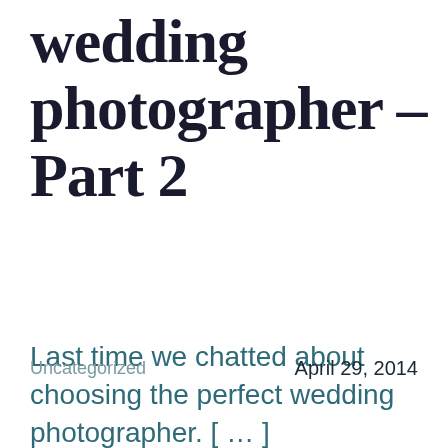wedding photographer – Part 2
Last time we chatted about choosing the perfect wedding photographer. [ … ]
Uncategorized    April 29, 2014